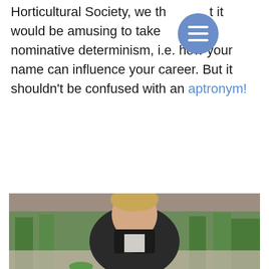Horticultural Society, we thought it would be amusing to take a look at nominative determinism, i.e. how your name can influence your career. But it shouldn't be confused with an aptronym!
[Figure (photo): A man with blonde hair and glasses wearing a dark jacket, sitting outdoors in a garden setting with green plants behind him, smiling at the camera.]